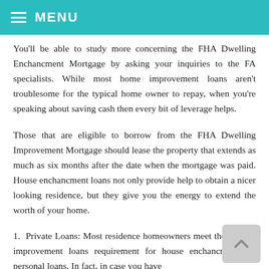MENU
You'll be able to study more concerning the FHA Dwelling Enchancment Mortgage by asking your inquiries to the FA specialists. While most home improvement loans aren't troublesome for the typical home owner to repay, when you're speaking about saving cash then every bit of leverage helps.
Those that are eligible to borrow from the FHA Dwelling Improvement Mortgage should lease the property that extends as much as six months after the date when the mortgage was paid. House enchancment loans not only provide help to obtain a nicer looking residence, but they give you the energy to extend the worth of your home.
1. Private Loans: Most residence homeowners meet their house improvement loans requirement for house enchancment via personal loans. In fact, in case you have